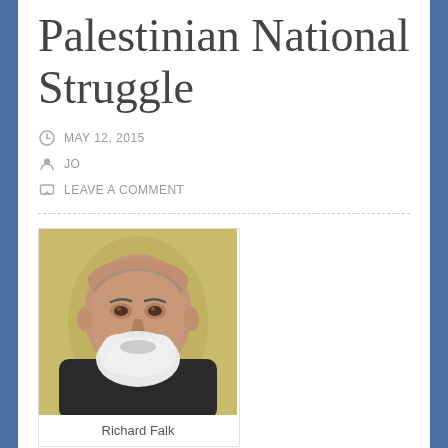Palestinian National Struggle
MAY 12, 2015
JO
LEAVE A COMMENT
[Figure (photo): Portrait photo of Richard Falk, an elderly man with white beard wearing dark clothing, against a yellowish background]
Richard Falk
By Richard Falk